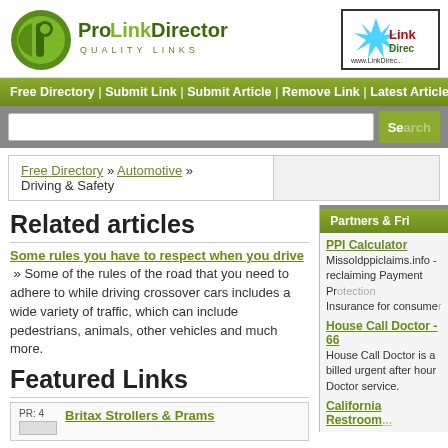[Figure (logo): ProLink Directory logo with green circle and 'P' icon, text 'ProLinkDirectory QUALITY LINKS']
[Figure (logo): LinkDirectory partner logo, partially cropped, with www.LinkDirec... URL]
Free Directory | Submit Link | Submit Article | Remove Link | Latest Article
Free Directory » Automotive » Driving & Safety
Related articles
Some rules you have to respect when you drive
» Some of the rules of the road that you need to adhere to while driving crossover cars includes a wide variety of traffic, which can include pedestrians, animals, other vehicles and much more.
Featured Links
PR: 4  Britax Strollers & Prams
Partners & Friends
PPI Calculator
Missoldppiclaims.info - reclaiming Payment Protection Insurance for consumer...
House Call Doctor - 66
House Call Doctor is a billed urgent after hour Doctor service.
California Restroom...